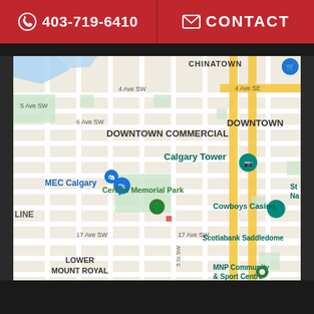403-719-6410   CONTACT
[Figure (map): Google Maps screenshot showing downtown Calgary, Alberta, Canada. Visible landmarks include Millennium Park, MEC Calgary, Central Memorial Park, Calgary Tower, Chinatown, Downtown Commercial district, Cowboys Casino, Scotiabank Saddledome, Lower Mount Royal, and MNP Community & Sport Centre. Street labels include 4 Ave SW, 5 Ave SW, 6 Ave SW, 17 Ave SW, 4 Ave SE.]